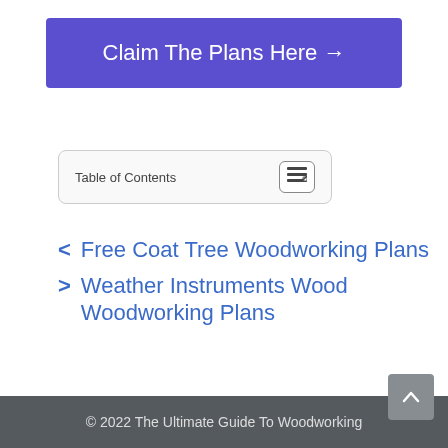Claim The Plans Here →
Table of Contents
Free Coat Tree Woodworking Plans
Weather Instruments Wood Woodworking Plans
© 2022 The Ultimate Guide To Woodworking